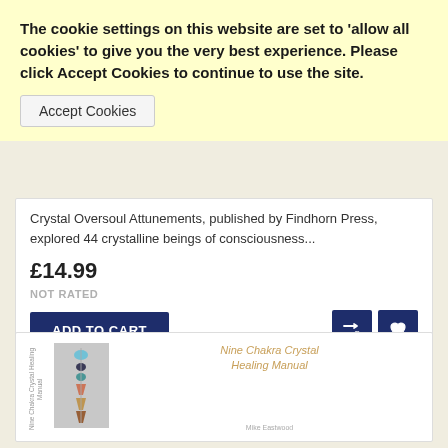The cookie settings on this website are set to 'allow all cookies' to give you the very best experience. Please click Accept Cookies to continue to use the site.
Accept Cookies
Crystal Oversoul Attunements, published by Findhorn Press, explored 44 crystalline beings of consciousness...
£14.99
NOT RATED
ADD TO CART
[Figure (other): Shuffle and wishlist icon buttons (dark navy)]
[Figure (other): Book product card showing Nine Chakra Crystal Healing Manual with book spine text, title in italic gold, and book cover image with crystal pendants on grey background, author name Mike Eastwood at bottom]